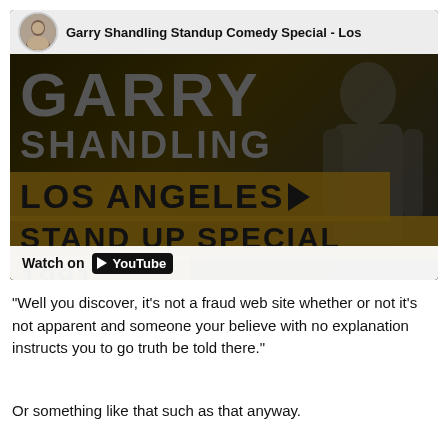[Figure (screenshot): YouTube video thumbnail for Garry Shandling Standup Comedy Special - Los Angeles Stand Up Special 1991. Shows dark background with large bold text GARRY SHANDLING, LOS ANGELES, STAND UP SPECIAL, 1991 with brown/gold banner bars. Top bar shows channel avatar and title. Bottom bar shows Watch on YouTube button.]
“Well you discover, it’s not a fraud web site whether or not it’s not apparent and someone your believe with no explanation instructs you to go truth be told there.”
Or something like that such as that anyway.